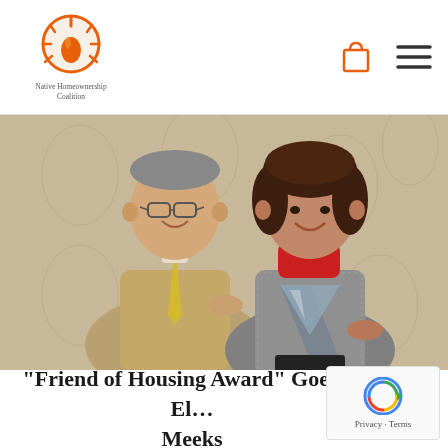Native Homeownership Coalition
[Figure (photo): A man in a tan suit and yellow tie stands next to a woman in a patterned jacket with a red turtleneck, smiling and holding a triangular crystal award plaque, photographed against a beige damask-patterned background.]
“Friend of Housing Award” Goes to El… Meeks